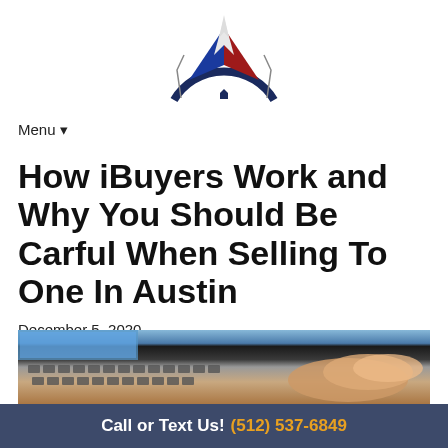[Figure (logo): Star-shaped logo with blue and red geometric star shape, compass-like dark blue semicircle border, small house icon at bottom center]
Menu ▾
How iBuyers Work and Why You Should Be Carful When Selling To One In Austin
December 5, 2020
By Kyle
[Figure (photo): Person's hands typing on a laptop keyboard, partial view showing keyboard and screen edge]
Call or Text Us! (512) 537-6849